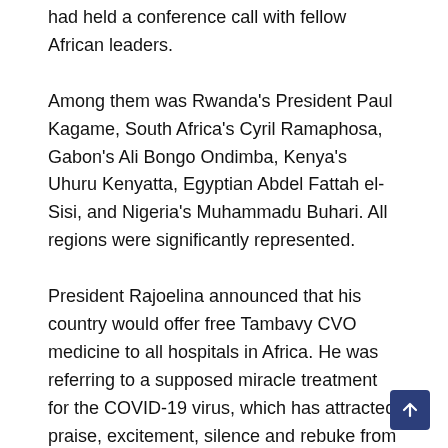had held a conference call with fellow African leaders.
Among them was Rwanda's President Paul Kagame, South Africa's Cyril Ramaphosa, Gabon's Ali Bongo Ondimba, Kenya's Uhuru Kenyatta, Egyptian Abdel Fattah el-Sisi, and Nigeria's Muhammadu Buhari. All regions were significantly represented.
President Rajoelina announced that his country would offer free Tambavy CVO medicine to all hospitals in Africa. He was referring to a supposed miracle treatment for the COVID-19 virus, which has attracted praise, excitement, silence and rebuke from every corner.
Photos have circulated of thousands of people lining up to drink bottles of the said medication in Madagascar.